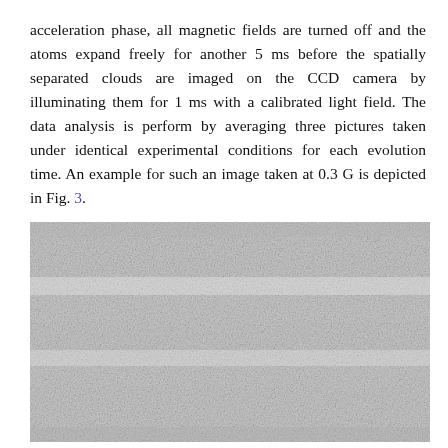acceleration phase, all magnetic fields are turned off and the atoms expand freely for another 5 ms before the spatially separated clouds are imaged on the CCD camera by illuminating them for 1 ms with a calibrated light field. The data analysis is perform by averaging three pictures taken under identical experimental conditions for each evolution time. An example for such an image taken at 0.3 G is depicted in Fig. 3.
[Figure (photo): CCD camera image of spatially separated atomic clouds taken at 0.3 G, showing a noisy grayscale photograph with lighter and darker horizontal bands representing the atom clouds.]